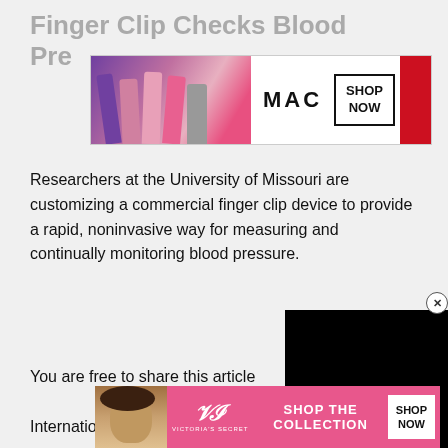Finger Clip Checks Blood Pressure
[Figure (photo): MAC cosmetics advertisement banner showing colorful lipsticks and SHOP NOW button]
Researchers at the University of Missouri are customizing a commercial finger clip device to provide a rapid, noninvasive way for measuring and continually monitoring blood pressure.
You are free to share this article under a Creative Commons 4.0 International license.
[Figure (screenshot): Black video overlay panel]
A new finger clip device can provide a rapid, noninvasive way for measuring and continually monitoring blood pressure.
[Figure (photo): Victoria's Secret advertisement banner showing model and SHOP THE COLLECTION / SHOP NOW buttons]